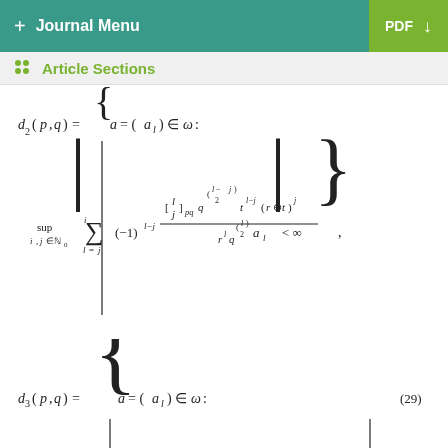+ Journal Menu   PDF ↓
Article Sections
(29)